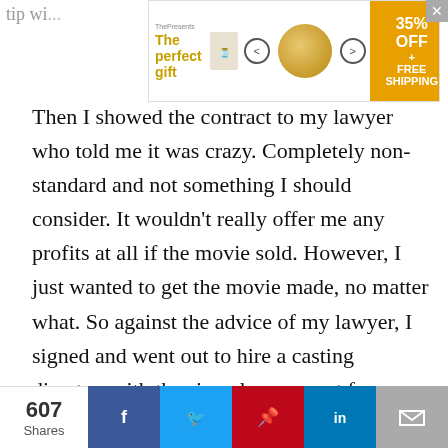tip wi...
[Figure (other): Advertisement banner for 'The perfect gift' with navigation arrows, food bowl image, and 35% OFF + FREE SHIPPING promo badge]
Then I showed the contract to my lawyer who told me it was crazy. Completely non-standard and not something I should consider. It wouldn't really offer me any profits at all if the movie sold. However, I just wanted to get the movie made, no matter what. So against the advice of my lawyer, I signed and went out to hire a casting director, with the signed agreement from Thunder Funder that we would split that expense 50/50. I had it in writing, in signed contracts. I hired a casting director to start attaching names to the project. Everyone can see where this goes: Thunder disappeared, never paid their half of
[Figure (other): Social media share bar with 607 Shares count, and buttons for Facebook, Twitter, Pinterest, LinkedIn, and Email]